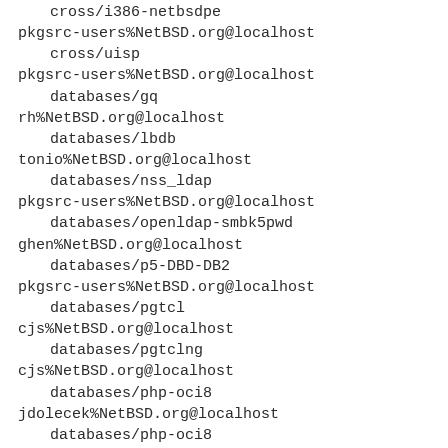cross/i386-netbsdpe
    pkgsrc-users%NetBSD.org@localhost
    cross/uisp
pkgsrc-users%NetBSD.org@localhost
    databases/gq
rh%NetBSD.org@localhost
    databases/lbdb
tonio%NetBSD.org@localhost
    databases/nss_ldap
pkgsrc-users%NetBSD.org@localhost
    databases/openldap-smbk5pwd
ghen%NetBSD.org@localhost
    databases/p5-DBD-DB2
pkgsrc-users%NetBSD.org@localhost
    databases/pgtcl
cjs%NetBSD.org@localhost
    databases/pgtclng
cjs%NetBSD.org@localhost
    databases/php-oci8
jdolecek%NetBSD.org@localhost
    databases/php-oci8
pkgsrc-users%NetBSD.org@localhost
    databases/py-cx_Oracle
joerg%NetBSD.org@localhost
    databases/py-cx_Oracle
joerg%NetBSD.org@localhost
    databases/py-cx_Oracle
joerg%NetBSD.org@localhost
    databases/slony1
adam%NetBSD.org@localhost
    databases/sqlite3.tcl